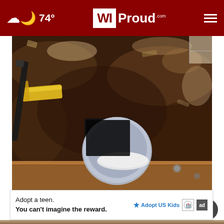74° WI Proud .com
[Figure (photo): Overhead view of a rotted, damaged subfloor with dark mold/dirt, a circular drain pipe fitting visible in the center, and construction tools including a yellow tape measure and black pry bar on the left side. Wooden framing visible at the bottom edge.]
Thousands of Ashburn Seniors Are Getting Walk-in Tubs with This New Program
[Figure (other): Advertisement banner: 'Adopt a teen. You can't imagine the reward.' with Adopt US Kids logo and HHS branding.]